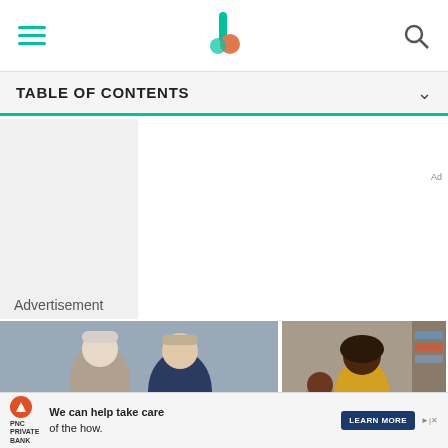TABLE OF CONTENTS
Advertisement
[Figure (photo): Elderly couple looking at a laptop together, smiling]
[Figure (photo): Woman in yellow top sitting on a couch with a child]
RETIREMENT PLANNING
7 Smart Ways to Secure Guaranteed Retirement Income
LIFE INSURANCE AND ANNUITIES
What Are the Different Types of Whole Life
We can help take care of the how. LEARN MORE | PNC PRIVATE BANK